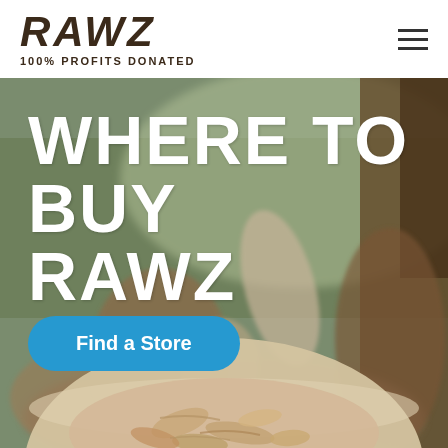[Figure (logo): RAWZ brand logo with text '100% PROFITS DONATED' beneath it]
[Figure (photo): Outdoor scene with cats/pets in a grassy field, showing a blurred natural background. Overlay text reads 'WHERE TO BUY RAWZ' with a blue 'Find a Store' button. A bowl of wet cat food is partially visible at the bottom.]
WHERE TO BUY RAWZ
Find a Store